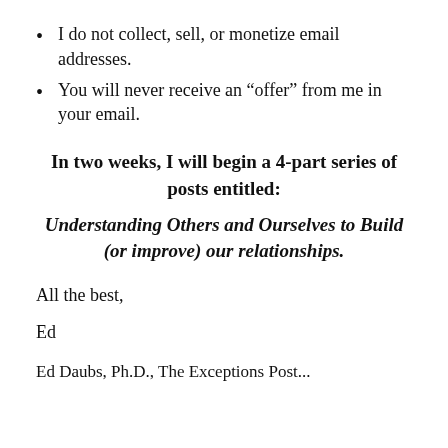I do not collect, sell, or monetize email addresses.
You will never receive an “offer” from me in your email.
In two weeks, I will begin a 4-part series of posts entitled:
Understanding Others and Ourselves to Build (or improve) our relationships.
All the best,
Ed
Ed Daubs, Ph.D., The Exceptions Post...